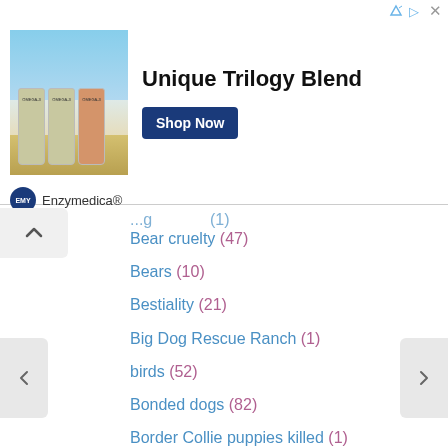[Figure (infographic): Advertisement banner for Enzymedica Omega-3 product showing three supplement bottles against a beach background with text 'Unique Trilogy Blend' and a 'Shop Now' button]
Bear cruelty (47)
Bears (10)
Bestiality (21)
Big Dog Rescue Ranch (1)
birds (52)
Bonded dogs (82)
Border Collie puppies killed (1)
Caitlyn the dog (2)
Camel or llama (3)
Cat dragger wanted (1)
Cat pinned in garage (1)
Cats (457)
Charlie the pig (1)